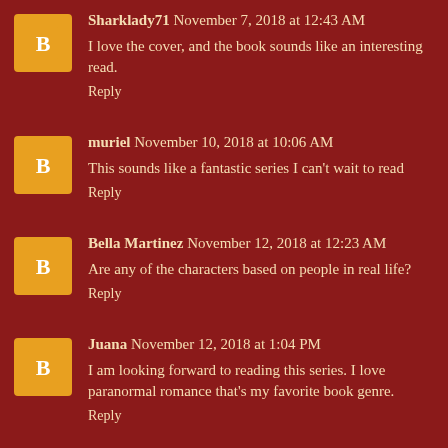Sharklady71  November 7, 2018 at 12:43 AM
I love the cover, and the book sounds like an interesting read.
Reply
muriel  November 10, 2018 at 10:06 AM
This sounds like a fantastic series I can't wait to read
Reply
Bella Martinez  November 12, 2018 at 12:23 AM
Are any of the characters based on people in real life?
Reply
Juana  November 12, 2018 at 1:04 PM
I am looking forward to reading this series. I love paranormal romance that's my favorite book genre.
Reply